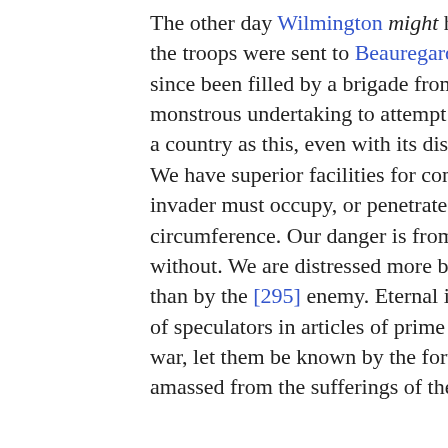The other day Wilmington might have been taken, for the troops were sent to Beauregard. Their places have since been filled by a brigade from Longstreet. It is a monstrous undertaking to attempt to subjugate so vast a country as this, even with its disparity of population. We have superior facilities for concentration, while the invader must occupy, or penetrate the outer lines of the circumference. Our danger is from within, not from without. We are distressed more by the extortioners than by the [295] enemy. Eternal infamy on the heads of speculators in articles of prime necessity! After the war, let them be known by the fortunes they have amassed from the sufferings of the